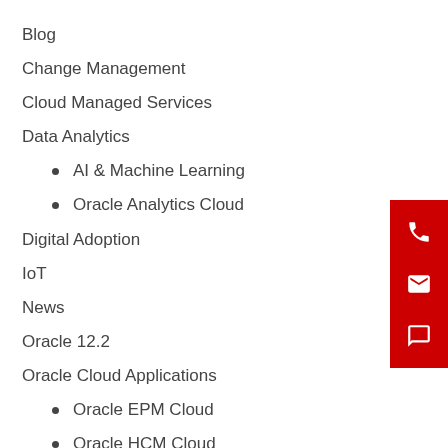Blog
Change Management
Cloud Managed Services
Data Analytics
AI & Machine Learning
Oracle Analytics Cloud
Digital Adoption
IoT
News
Oracle 12.2
Oracle Cloud Applications
Oracle EPM Cloud
Oracle HCM Cloud
Oracle Cloud Infrastructure (truncated)
[Figure (infographic): Red contact panel on right side with phone, email, and chat icons in white]